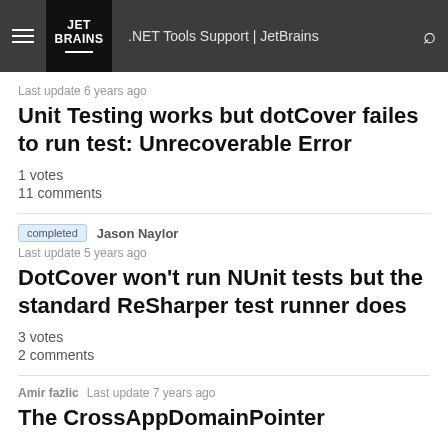.NET Tools Support | JetBrains
Last update 6 years ago
Unit Testing works but dotCover failes to run test: Unrecoverable Error
1 votes
11 comments
completed   Jason Naylor
Last update 5 years ago
DotCover won't run NUnit tests but the standard ReSharper test runner does
3 votes
2 comments
Amir fazlic   Last update 7 years ago
The CrossAppDomainPointer